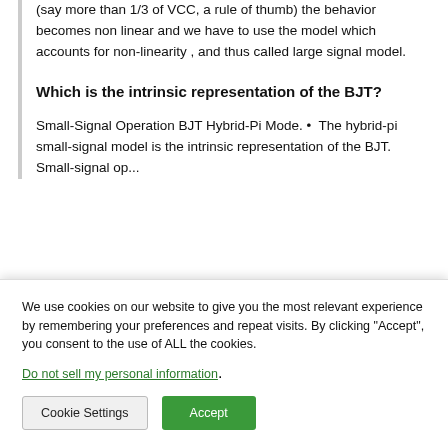(say more than 1/3 of VCC, a rule of thumb) the behavior becomes non linear and we have to use the model which accounts for non-linearity , and thus called large signal model.
Which is the intrinsic representation of the BJT?
Small-Signal Operation BJT Hybrid-Pi Mode. • The hybrid-pi small-signal model is the intrinsic representation of the BJT. Small-signal...
We use cookies on our website to give you the most relevant experience by remembering your preferences and repeat visits. By clicking "Accept", you consent to the use of ALL the cookies.
Do not sell my personal information.
Cookie Settings | Accept